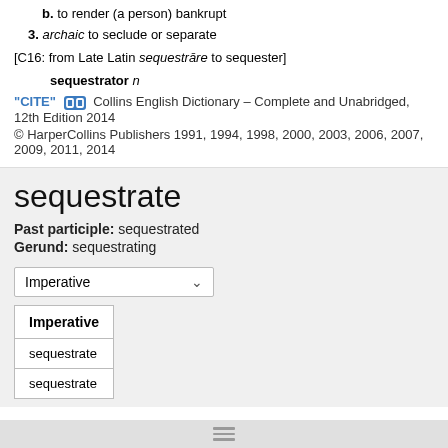b. to render (a person) bankrupt
3. archaic to seclude or separate
[C16: from Late Latin sequestrāre to sequester]
sequestrator n
"CITE" [link icon] Collins English Dictionary – Complete and Unabridged, 12th Edition 2014 © HarperCollins Publishers 1991, 1994, 1998, 2000, 2003, 2006, 2007, 2009, 2011, 2014
sequestrate
Past participle: sequestrated
Gerund: sequestrating
| Imperative |
| --- |
| sequestrate |
| sequestrate |